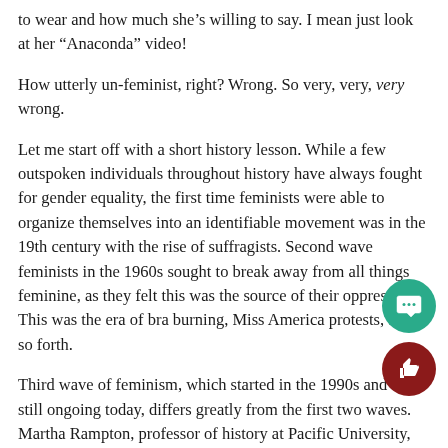to wear and how much she’s willing to say. I mean just look at her “Anaconda” video!
How utterly un-feminist, right? Wrong. So very, very, very wrong.
Let me start off with a short history lesson. While a few outspoken individuals throughout history have always fought for gender equality, the first time feminists were able to organize themselves into an identifiable movement was in the 19th century with the rise of suffragists. Second wave feminists in the 1960s sought to break away from all things feminine, as they felt this was the source of their oppression. This was the era of bra burning, Miss America protests, and so forth.
Third wave of feminism, which started in the 1990s and is still ongoing today, differs greatly from the first two waves. Martha Rampton, professor of history at Pacific University, writes that third wave feminism is defined by “the re-adoption by young feminists of the very lipstick and high heels that the first two phases of the movement identified with patriarchal oppre… Pinkfloor expressed this new position when she said: ‘It’s